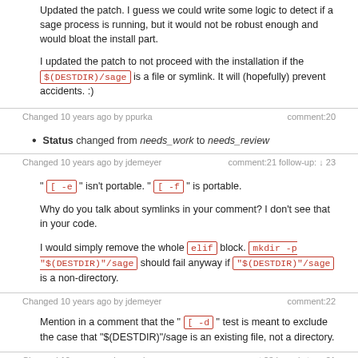Updated the patch. I guess we could write some logic to detect if a sage process is running, but it would not be robust enough and would bloat the install part.
I updated the patch to not proceed with the installation if the $(DESTDIR)/sage is a file or symlink. It will (hopefully) prevent accidents. :)
Changed 10 years ago by ppurka    comment:20
Status changed from needs_work to needs_review
Changed 10 years ago by jdemeyer    comment:21 follow-up: ↓ 23
" [ -e " isn't portable. " [ -f " is portable.
Why do you talk about symlinks in your comment? I don't see that in your code.
I would simply remove the whole elif block. mkdir -p "$(DESTDIR)"/sage should fail anyway if "$(DESTDIR)"/sage is a non-directory.
Changed 10 years ago by jdemeyer    comment:22
Mention in a comment that the " [ -d " test is meant to exclude the case that "$(DESTDIR)"/sage is an existing file, not a directory.
Changed 10 years ago by ppurka    comment:23 in reply to: ↑ 21